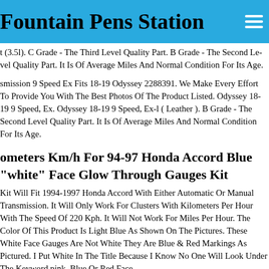Fountain Pens Station
t (3.5l). C Grade - The Third Level Quality Part. B Grade - The Second Level Quality Part. It Is Of Average Miles And Normal Condition For Its Age.
smission 9 Speed Ex Fits 18-19 Odyssey 2288391. We Make Every Effort To Provide You With The Best Photos Of The Product Listed. Odyssey 18-19 9 Speed, Ex. Odyssey 18-19 9 Speed, Ex-l ( Leather ). B Grade - The Second Level Quality Part. It Is Of Average Miles And Normal Condition For Its Age.
ometers Km/h For 94-97 Honda Accord Blue "white" Face Glow Through Gauges Kit
Kit Will Fit 1994-1997 Honda Accord With Either Automatic Or Manual Transmission. It Will Only Work For Clusters With Kilometers Per Hour With The Speed Of 220 Kph. It Will Not Work For Miles Per Hour. The Color Of This Product Is Light Blue As Shown On The Pictures. These White Face Gauges Are Not White They Are Blue & Red Markings As Pictured. I Put White In The Title Because I Know No One Will Look Under The Keyword pink, Blue Or Red Fa...